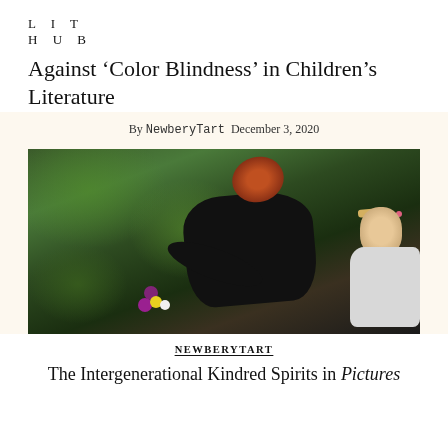LIT HUB
Against ‘Color Blindness’ in Children’s Literature
By NewberyTart  December 3, 2020
[Figure (photo): An elderly woman with reddish-brown hair leaning down and smiling, handing wildflowers (purple, yellow, white) to a young child with blonde hair, set against a blurred green forest background.]
NEWBERYTART
The Intergenerational Kindred Spirits in Pictures